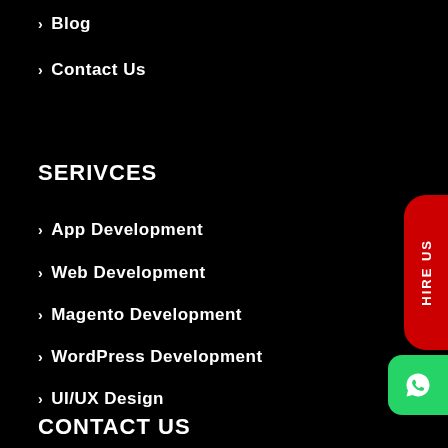> Blog
> Contact Us
SERIVCES
> App Development
> Web Development
> Magento Development
> WordPress Development
> UI/UX Design
CONTACT US